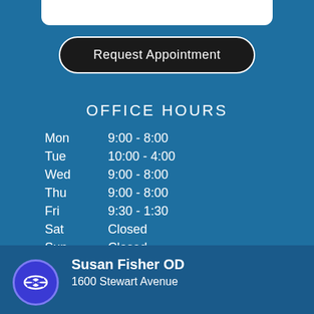[Figure (other): Partial top image strip (logo/header image) visible at top of page]
Request Appointment
OFFICE HOURS
Mon    9:00 - 8:00
Tue    10:00 - 4:00
Wed    9:00 - 8:00
Thu    9:00 - 8:00
Fri    9:30 - 1:30
Sat    Closed
Sun    Closed
Susan Fisher OD
1600 Stewart Avenue